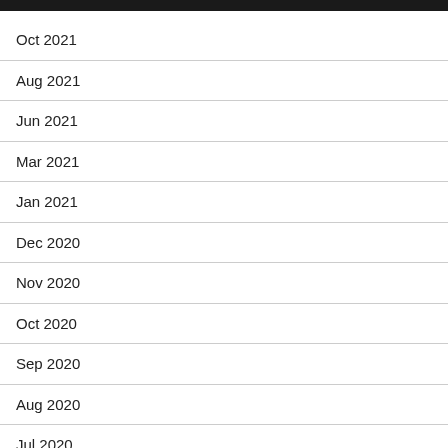Oct 2021
Aug 2021
Jun 2021
Mar 2021
Jan 2021
Dec 2020
Nov 2020
Oct 2020
Sep 2020
Aug 2020
Jul 2020